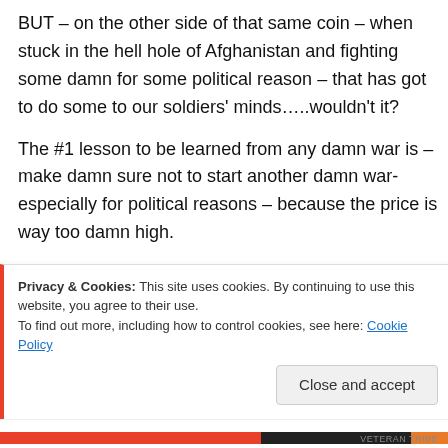BUT – on the other side of that same coin – when stuck in the hell hole of Afghanistan and fighting some damn for some political reason – that has got to do some to our soldiers' minds…..wouldn't it?
The #1 lesson to be learned from any damn war is – make damn sure not to start another damn war- especially for political reasons – because the price is way too damn high.
To me – that is how Americans should honor our
Privacy & Cookies: This site uses cookies. By continuing to use this website, you agree to their use.
To find out more, including how to control cookies, see here: Cookie Policy